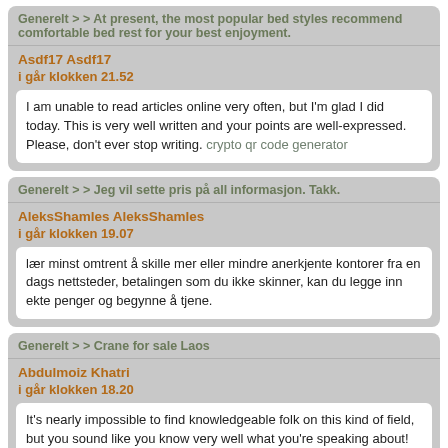Generelt > > At present, the most popular bed styles recommend comfortable bed rest for your best enjoyment.
Asdf17 Asdf17
i går klokken 21.52
I am unable to read articles online very often, but I'm glad I did today. This is very well written and your points are well-expressed. Please, don't ever stop writing. crypto qr code generator
Generelt > > Jeg vil sette pris på all informasjon. Takk.
AleksShamles AleksShamles
i går klokken 19.07
lær minst omtrent å skille mer eller mindre anerkjente kontorer fra en dags nettsteder, betalingen som du ikke skinner, kan du legge inn ekte penger og begynne å tjene.
Generelt > > Crane for sale Laos
Abdulmoiz Khatri
i går klokken 18.20
It's nearly impossible to find knowledgeable folk on this kind of field, but you sound like you know very well what you're speaking about! Thanks a bunch Protetox